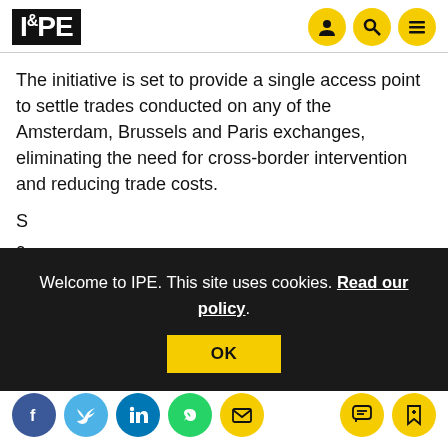IPE
The initiative is set to provide a single access point to settle trades conducted on any of the Amsterdam, Brussels and Paris exchanges, eliminating the need for cross-border intervention and reducing trade costs.
S... c... m... e... t... launch date for ESES.
Welcome to IPE. This site uses cookies. Read our policy.
OK
Social icons: facebook, twitter, linkedin, whatsapp, email, chat, bookmark